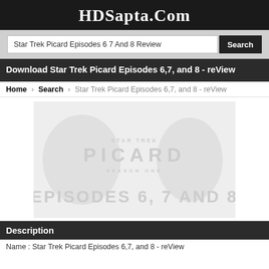HDSapta.Com
Star Trek Picard Episodes 6 7 And 8 Review   Search
Download Star Trek Picard Episodes 6,7, and 8 - reView
Home › Search › Star Trek Picard Episodes 6,7, and 8 - reView
[Figure (illustration): Placeholder thumbnail image for Star Trek Picard Episodes 6, 7 and 8. Light grey background with faint watermark-style text reading 'PICARD' and 'EPISODES 6, 7 AND 8'.]
Description
Name : Star Trek Picard Episodes 6,7, and 8 - reView